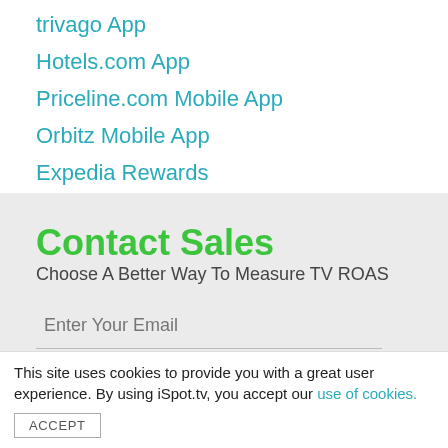trivago App
Hotels.com App
Priceline.com Mobile App
Orbitz Mobile App
Expedia Rewards
Contact Sales
Choose A Better Way To Measure TV ROAS
Enter Your Email
This site uses cookies to provide you with a great user experience. By using iSpot.tv, you accept our use of cookies.